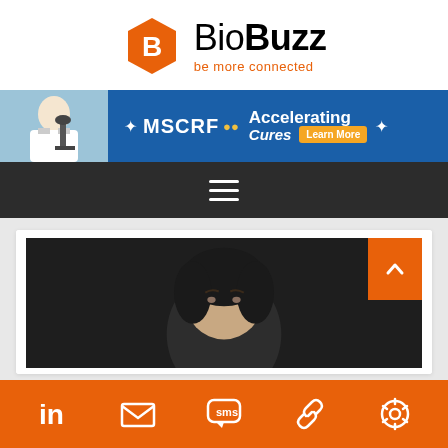[Figure (logo): BioBuzz logo with orange hexagon B icon and tagline 'be more connected']
[Figure (infographic): MSCRF Accelerating Cures banner advertisement with scientist at microscope]
[Figure (screenshot): Dark navigation bar with hamburger menu icon]
[Figure (photo): Person with dark hair against dark background, partially visible]
[Figure (infographic): Orange social media toolbar with LinkedIn, email, SMS, link, and settings icons]